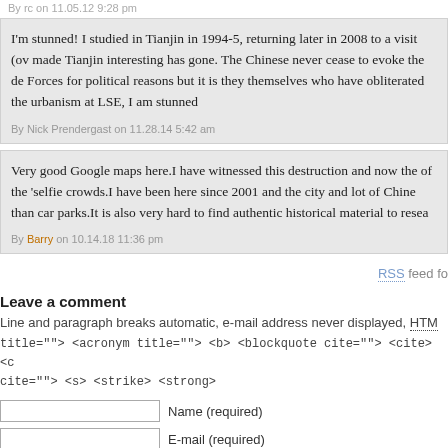By rc on 11.05.12 9:28 pm
I'm stunned! I studied in Tianjin in 1994-5, returning later in 2008 to a visit (ov made Tianjin interesting has gone. The Chinese never cease to evoke the de Forces for political reasons but it is they themselves who have obliterated the urbanism at LSE, I am stunned
By Nick Prendergast on 11.28.14 5:42 am
Very good Google maps here.I have witnessed this destruction and now the of the 'selfie crowds.I have been here since 2001 and the city and lot of Chine than car parks.It is also very hard to find authentic historical material to resea
By Barry on 10.14.18 11:36 pm
RSS feed fo
Leave a comment
Line and paragraph breaks automatic, e-mail address never displayed, HTM
title=""> <acronym title=""> <b> <blockquote cite=""> <cite> <c cite=""> <s> <strike> <strong>
Name (required)
E-mail (required)